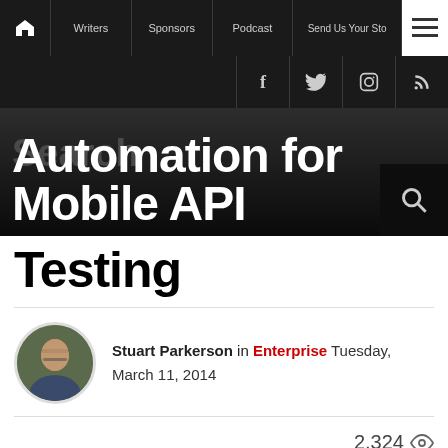Navigation: Home | Writers | Sponsors | Podcast | Send Us Your Sto...
[Figure (screenshot): Website navigation bar with dark background, showing home icon, Writers, Sponsors, Podcast, Send Us Your Sto... links and hamburger menu button]
[Figure (screenshot): Social media icons row: Facebook, Twitter, Instagram, RSS on dark background]
Automation for Mobile API Testing
[Figure (photo): Author headshot of Stuart Parkerson - circular cropped portrait photo of a middle-aged man with glasses]
Stuart Parkerson in Enterprise Tuesday, March 11, 2014
2,324 views